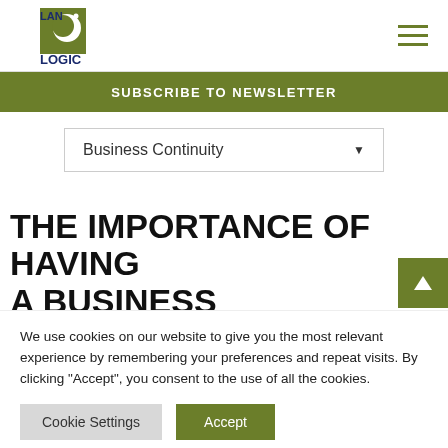LAN LOGIC
SUBSCRIBE TO NEWSLETTER
Business Continuity
THE IMPORTANCE OF HAVING A BUSINESS CONTINUITY PLAN (BCP)
We use cookies on our website to give you the most relevant experience by remembering your preferences and repeat visits. By clicking “Accept”, you consent to the use of all the cookies.
Cookie Settings   Accept